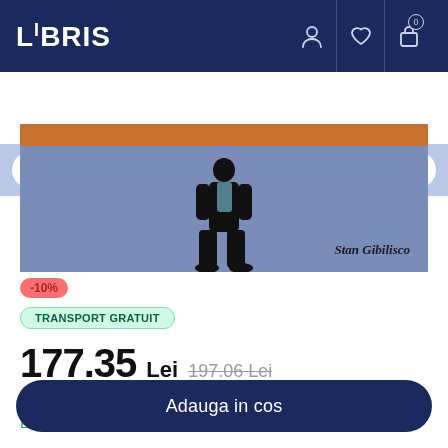LIBRIS
Cauta printre rafturile noastre
[Figure (photo): Book cover partial view showing a figure in black clothes standing, with orange top bar and author name Stan Gibilisco on a blue/purple background]
-10%
TRANSPORT GRATUIT
177.35 Lei  197.06 Lei
Sau 17735 de puncte
Livrare in 2-4 saptamani
Adauga in cos